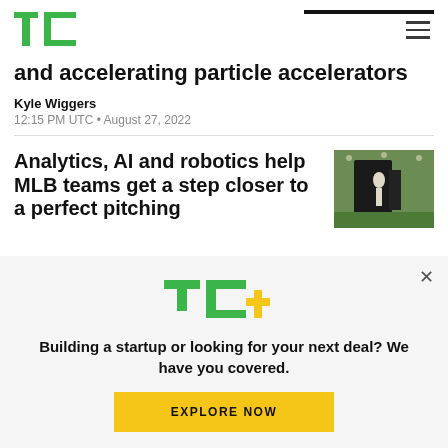TechCrunch
and accelerating particle accelerators
Kyle Wiggers
12:15 PM UTC • August 27, 2022
Analytics, AI and robotics help MLB teams get a step closer to a perfect pitching
[Figure (photo): A pitching machine or robot on a baseball field, dark structure visible against a green turf background.]
Building a startup or looking for your next deal? We have you covered.
EXPLORE NOW